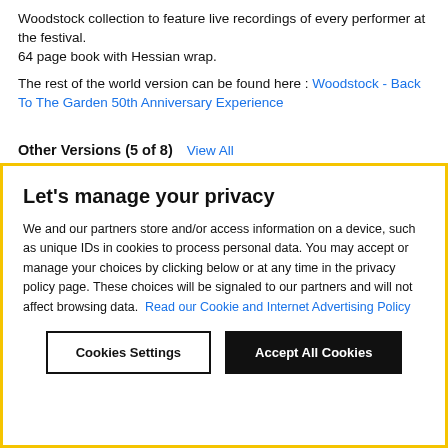Woodstock collection to feature live recordings of every performer at the festival.
64 page book with Hessian wrap.
The rest of the world version can be found here : Woodstock - Back To The Garden 50th Anniversary Experience
Other Versions (5 of 8)
Let's manage your privacy
We and our partners store and/or access information on a device, such as unique IDs in cookies to process personal data. You may accept or manage your choices by clicking below or at any time in the privacy policy page. These choices will be signaled to our partners and will not affect browsing data. Read our Cookie and Internet Advertising Policy